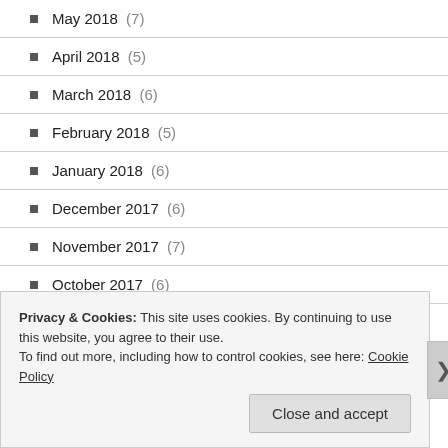May 2018 (7)
April 2018 (5)
March 2018 (6)
February 2018 (5)
January 2018 (6)
December 2017 (6)
November 2017 (7)
October 2017 (6)
September 2017 (8)
August 2017 (4)
Privacy & Cookies: This site uses cookies. By continuing to use this website, you agree to their use. To find out more, including how to control cookies, see here: Cookie Policy
Close and accept